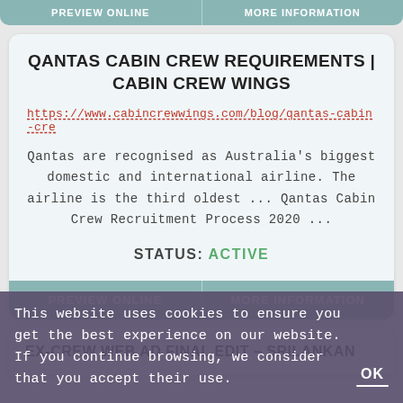PREVIEW ONLINE | MORE INFORMATION
QANTAS CABIN CREW REQUIREMENTS | CABIN CREW WINGS
https://www.cabincrewwings.com/blog/qantas-cabin-cre
Qantas are recognised as Australia's biggest domestic and international airline. The airline is the third oldest ... Qantas Cabin Crew Recruitment Process 2020 ...
STATUS: ACTIVE
PREVIEW ONLINE | MORE INFORMATION
EX-CREW WEB AD FINAL EDIT – SRILANKAN
This website uses cookies to ensure you get the best experience on our website. If you continue browsing, we consider that you accept their use. OK